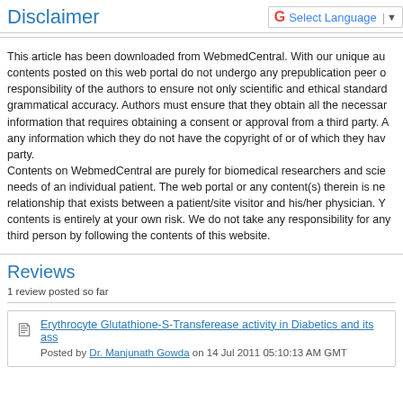Disclaimer
This article has been downloaded from WebmedCentral. With our unique au contents posted on this web portal do not undergo any prepublication peer o responsibility of the authors to ensure not only scientific and ethical standard grammatical accuracy. Authors must ensure that they obtain all the necessar information that requires obtaining a consent or approval from a third party. A any information which they do not have the copyright of or of which they hav party. Contents on WebmedCentral are purely for biomedical researchers and scie needs of an individual patient. The web portal or any content(s) therein is ne relationship that exists between a patient/site visitor and his/her physician. Y contents is entirely at your own risk. We do not take any responsibility for any third person by following the contents of this website.
Reviews
1 review posted so far
Erythrocyte Glutathione-S-Transferease activity in Diabetics and its ass
Posted by Dr. Manjunath Gowda on 14 Jul 2011 05:10:13 AM GMT